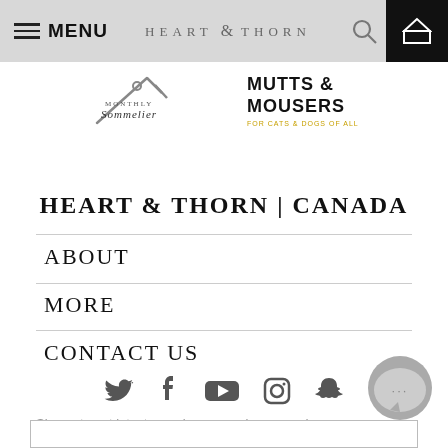MENU  HEART & THORN
[Figure (logo): Monthly Sommelier script logo with wine key icon]
[Figure (logo): Mutts & Mousers bold text logo]
HEART & THORN | CANADA
ABOUT
MORE
CONTACT US
[Figure (infographic): Social media icons row: Twitter, Facebook, YouTube, Instagram, Snapchat]
Signup to get latest on sales, new releases and more...